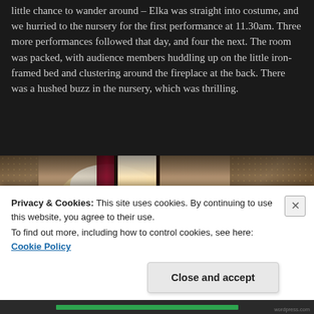little chance to wander around – Elka was straight into costume, and we hurried to the nursery for the first performance at 11.30am. Three more performances followed that day, and four the next. The room was packed, with audience members huddling up on the little iron-framed bed and clustering around the fireplace at the back. There was a hushed buzz in the nursery, which was thrilling.
[Figure (photo): A person in period costume with a bonnet/cap, standing in a room with floral wallpaper, a bright doorway/window in the background, and red curtains. The scene appears to be from a historical theatrical performance.]
Privacy & Cookies: This site uses cookies. By continuing to use this website, you agree to their use.
To find out more, including how to control cookies, see here: Cookie Policy
Close and accept